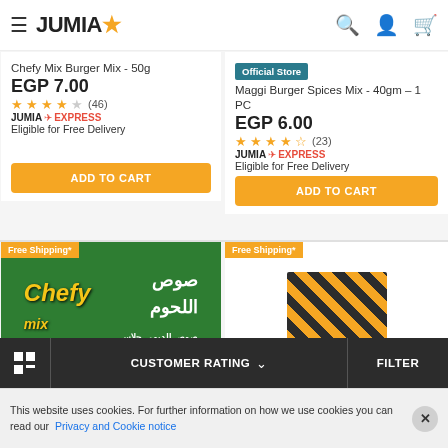JUMIA
Chefy Mix Burger Mix - 50g
EGP 7.00
★★★★☆ (46)
JUMIA EXPRESS - Eligible for Free Delivery
ADD TO CART
Official Store
Maggi Burger Spices Mix - 40gm – 1 PC
EGP 6.00
★★★★½ (23)
JUMIA EXPRESS - Eligible for Free Delivery
ADD TO CART
[Figure (photo): Chefy Mix product image with green background and Arabic text صوص اللحوم, Free Shipping* badge]
[Figure (photo): Maggi product image with orange/black checkered pattern, Free Shipping* badge]
CUSTOMER RATING ∨
FILTER
This website uses cookies. For further information on how we use cookies you can read our Privacy and Cookie notice